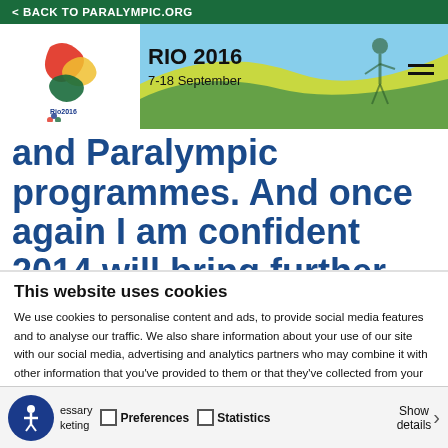< BACK TO PARALYMPIC.ORG
[Figure (logo): Rio 2016 Paralympic Games header with logo, RIO 2016 text, 7-18 September dates, colorful background, and hamburger menu]
and Paralympic programmes. And once again I am confident 2014 will bring further success in what will be another
This website uses cookies
We use cookies to personalise content and ads, to provide social media features and to analyse our traffic. We also share information about your use of our site with our social media, advertising and analytics partners who may combine it with other information that you've provided to them or that they've collected from your use of their services.
Allow all cookies
Allow selection
Use necessary cookies on
essary
keting   Preferences   Statistics   Show details